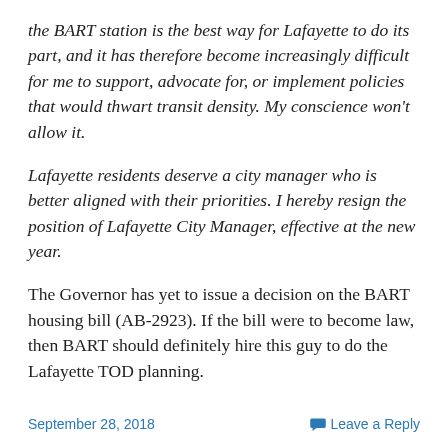the BART station is the best way for Lafayette to do its part, and it has therefore become increasingly difficult for me to support, advocate for, or implement policies that would thwart transit density. My conscience won't allow it.
Lafayette residents deserve a city manager who is better aligned with their priorities. I hereby resign the position of Lafayette City Manager, effective at the new year.
The Governor has yet to issue a decision on the BART housing bill (AB-2923). If the bill were to become law, then BART should definitely hire this guy to do the Lafayette TOD planning.
September 28, 2018   Leave a Reply